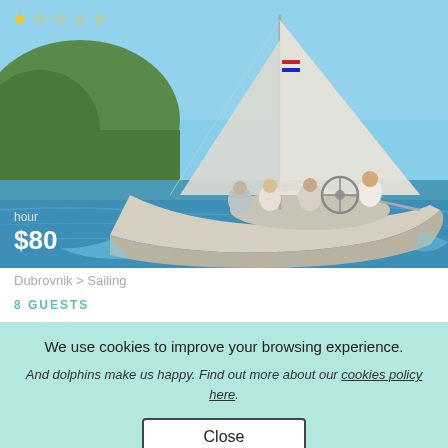[Figure (photo): People sailing on a white sailboat on blue water near a forested coastline, with a Croatian flag visible on the mast. Star rating overlay at top left (1 filled star, 4 outline stars). Price overlay at bottom left: 'hour / $80'.]
Dubrovnik > Sailing
8 GUESTS
We use cookies to improve your browsing experience.
And dolphins make us happy. Find out more about our cookies policy here.
Close